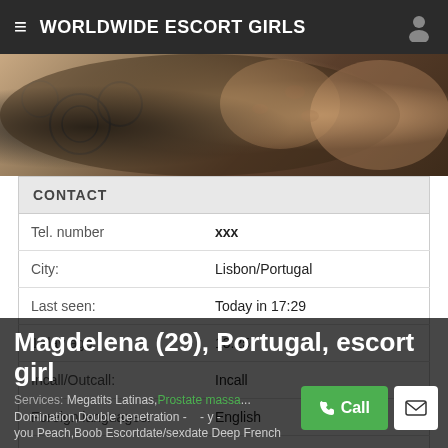WORLDWIDE ESCORT GIRLS
[Figure (photo): Partial photo of a tattooed person, cropped view of shoulder and arm with flower tattoos]
| Field | Value |
| --- | --- |
| Tel. number | xxx |
| City: | Lisbon/Portugal |
| Last seen: | Today in 17:29 |
| 1 day ago: | 13:25 |
| Incall/Outcall: | Incall |
| Foreign languages: | English |
| Services: | Megatits Latinas,Prostate massage,Domination,Double penetration - strap-on - by you,Peach,Boob,Escortdate/sexdate,Deep French |
Magdelena (29), Portugal, escort girl